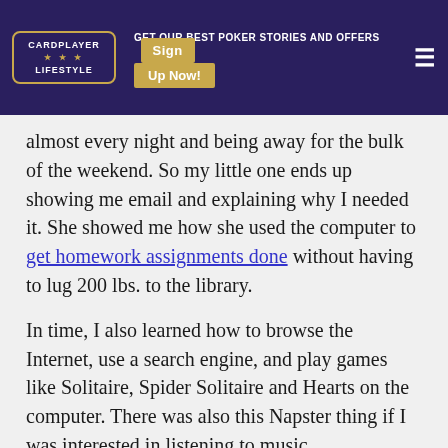CARDPLAYER LIFESTYLE — GET OUR BEST POKER STORIES AND OFFERS Sign Up Now!
almost every night and being away for the bulk of the weekend. So my little one ends up showing me email and explaining why I needed it. She showed me how she used the computer to get homework assignments done without having to lug 200 lbs. to the library.
In time, I also learned how to browse the Internet, use a search engine, and play games like Solitaire, Spider Solitaire and Hearts on the computer. There was also this Napster thing if I was interested in listening to music…
One day I was sitting there playing Solitaire over and over and over, getting extremely frustrated at the fact